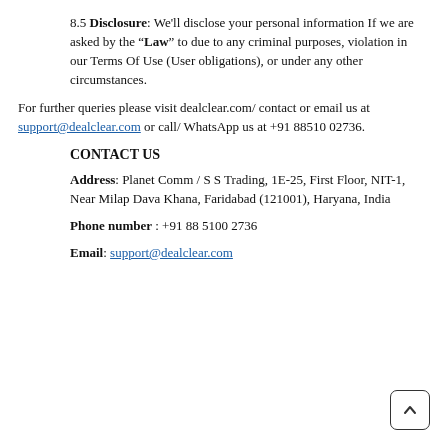8.5 Disclosure: We'll disclose your personal information If we are asked by the "Law" to due to any criminal purposes, violation in our Terms Of Use (User obligations), or under any other circumstances.
For further queries please visit dealclear.com/ contact or email us at support@dealclear.com or call/ WhatsApp us at +91 88510 02736.
CONTACT US
Address: Planet Comm / S S Trading, 1E-25, First Floor, NIT-1, Near Milap Dava Khana, Faridabad (121001), Haryana, India
Phone number : +91 88 5100 2736
Email: support@dealclear.com